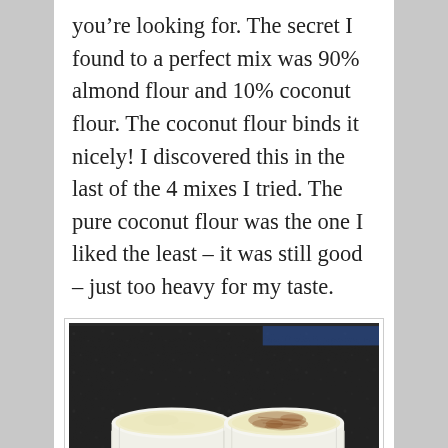you're looking for. The secret I found to a perfect mix was 90% almond flour and 10% coconut flour. The coconut flour binds it nicely! I discovered this in the last of the 4 mixes I tried. The pure coconut flour was the one I liked the least – it was still good – just too heavy for my taste.
[Figure (photo): Two white ramekins on a dark granite counter. The left ramekin contains a plain pale baked item; the right ramekin has a similar baked item dusted with reddish-brown spice on top.]